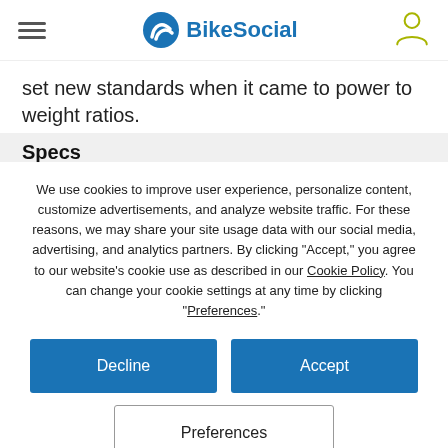BikeSocial
set new standards when it came to power to weight ratios.
Specs
We use cookies to improve user experience, personalize content, customize advertisements, and analyze website traffic. For these reasons, we may share your site usage data with our social media, advertising, and analytics partners. By clicking "Accept," you agree to our website's cookie use as described in our Cookie Policy. You can change your cookie settings at any time by clicking "Preferences."
Decline
Accept
Preferences